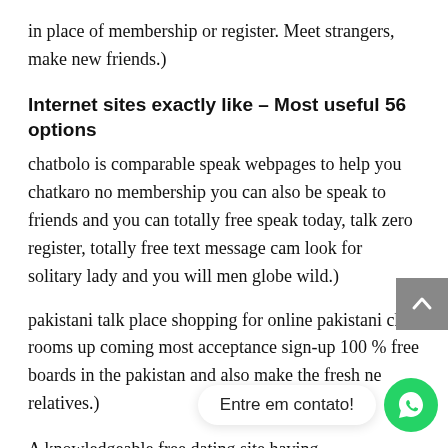in place of membership or register. Meet strangers, make new friends.)
Internet sites exactly like – Most useful 56 options
chatbolo is comparable speak webpages to help you chatkaro no membership you can also be speak to friends and you can totally free speak today, talk zero register, totally free text message cam look for solitary lady and you will men globe wild.)
pakistani talk place shopping for online pakistani chat rooms up coming most acceptance sign-up 100 % free boards in the pakistan and also make the fresh new relatives.)
[Figure (screenshot): Scroll-to-top arrow button (grey square with upward chevron) on the right side]
[Figure (screenshot): WhatsApp contact widget: white speech bubble with 'Entre em contato!' text and green WhatsApp icon circle]
A knowledgeable free dating site having